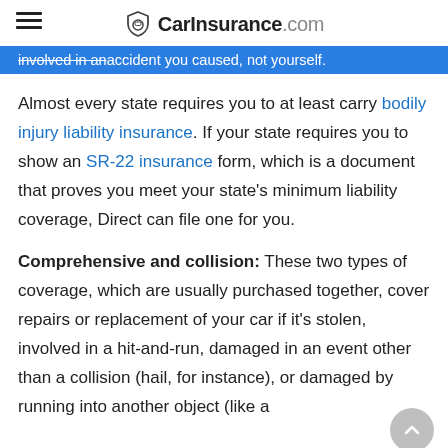CarInsurance.com
involved in an accident you caused, not yourself.
Almost every state requires you to at least carry bodily injury liability insurance. If your state requires you to show an SR-22 insurance form, which is a document that proves you meet your state's minimum liability coverage, Direct can file one for you.
Comprehensive and collision: These two types of coverage, which are usually purchased together, cover repairs or replacement of your car if it's stolen, involved in a hit-and-run, damaged in an event other than a collision (hail, for instance), or damaged by running into another object (like a